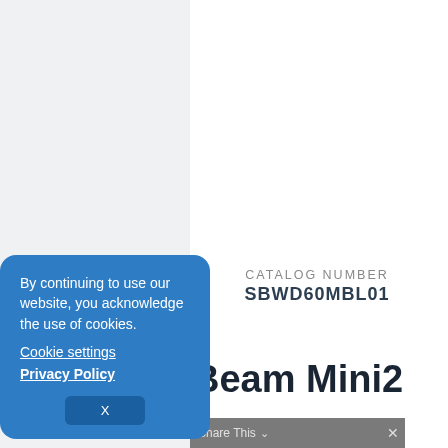CATALOG NUMBER
SBWD60MBL01
Beam Mini2
e Features
By continuing to use our website, you acknowledge the use of cookies.
Cookie settings
Privacy Policy
X